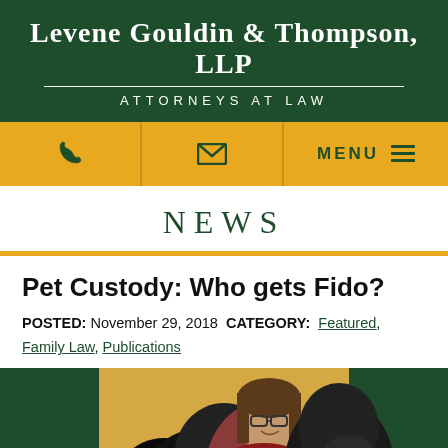LEVENE GOULDIN & THOMPSON, LLP
ATTORNEYS AT LAW
[Figure (screenshot): Navigation bar with phone icon, email icon, and MENU hamburger on gold background]
NEWS
Pet Custody: Who gets Fido?
POSTED: November 29, 2018  CATEGORY: Featured, Family Law, Publications
[Figure (photo): A woman with glasses smiling, hugging a large black dog, with a yellow wall background]